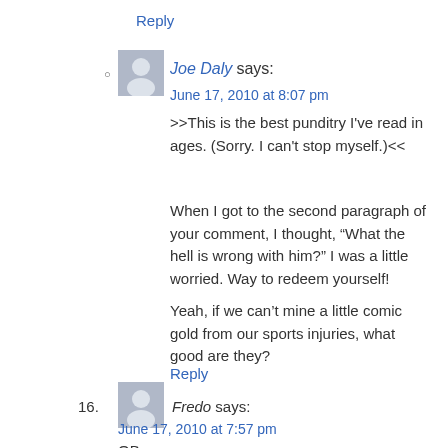Reply
Joe Daly says:
June 17, 2010 at 8:07 pm
>>This is the best punditry I've read in ages. (Sorry. I can't stop myself.)<<
When I got to the second paragraph of your comment, I thought, “What the hell is wrong with him?” I was a little worried. Way to redeem yourself!
Yeah, if we can’t mine a little comic gold from our sports injuries, what good are they?
Reply
16. Fredo says:
June 17, 2010 at 7:57 pm
OB
Can't believe you never told me that story!!!
Give Pine a break. Flannery would have been waving